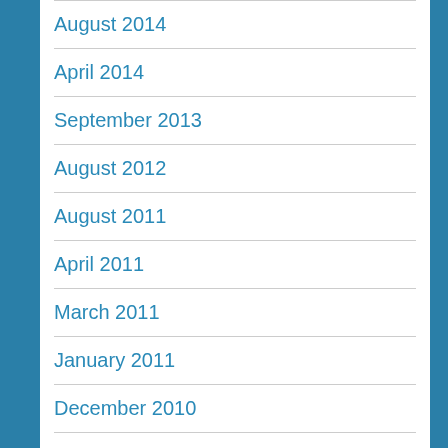August 2014
April 2014
September 2013
August 2012
August 2011
April 2011
March 2011
January 2011
December 2010
November 2010